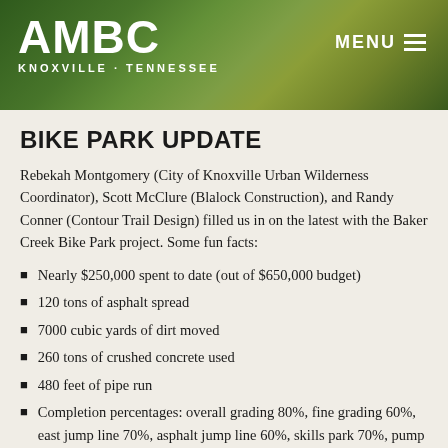AMBC KNOXVILLE · TENNESSEE
BIKE PARK UPDATE
Rebekah Montgomery (City of Knoxville Urban Wilderness Coordinator), Scott McClure (Blalock Construction), and Randy Conner (Contour Trail Design) filled us in on the latest with the Baker Creek Bike Park project. Some fun facts:
Nearly $250,000 spent to date (out of $650,000 budget)
120 tons of asphalt spread
7000 cubic yards of dirt moved
260 tons of crushed concrete used
480 feet of pipe run
Completion percentages: overall grading 80%, fine grading 60%, east jump line 70%, asphalt jump line 60%, skills park 70%, pump track 20%